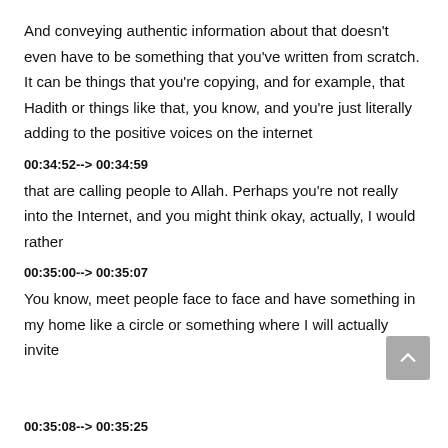And conveying authentic information about that doesn't even have to be something that you've written from scratch. It can be things that you're copying, and for example, that Hadith or things like that, you know, and you're just literally adding to the positive voices on the internet
00:34:52--> 00:34:59
that are calling people to Allah. Perhaps you're not really into the Internet, and you might think okay, actually, I would rather
00:35:00--> 00:35:07
You know, meet people face to face and have something in my home like a circle or something where I will actually invite
00:35:08--> 00:35:25